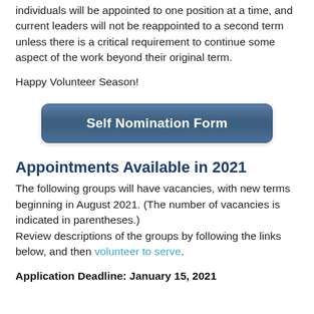individuals will be appointed to one position at a time, and current leaders will not be reappointed to a second term unless there is a critical requirement to continue some aspect of the work beyond their original term.
Happy Volunteer Season!
[Figure (other): Blue rounded button labeled 'Self Nomination Form']
Appointments Available in 2021
The following groups will have vacancies, with new terms beginning in August 2021. (The number of vacancies is indicated in parentheses.) Review descriptions of the groups by following the links below, and then volunteer to serve.
Application Deadline: January 15, 2021